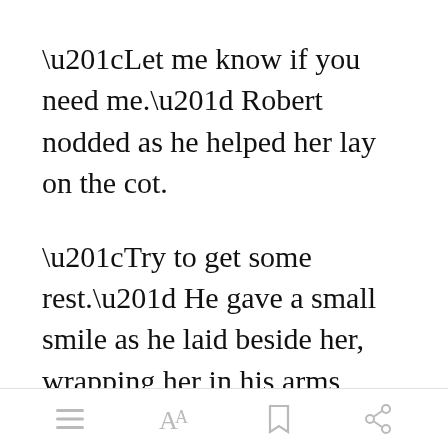“Let me know if you need me.” Robert nodded as he helped her lay on the cot.
“Try to get some rest.” He gave a small smile as he laid beside her, wrapping her in his arms before they were both fast asleep.
The next several days were filled
[Figure (other): Green 'Open in app' button overlay on bottom portion of text]